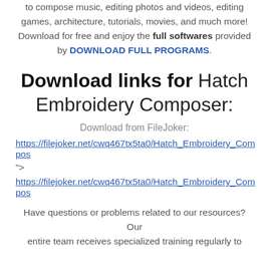to compose music, editing photos and videos, editing games, architecture, tutorials, movies, and much more! Download for free and enjoy the full softwares provided by DOWNLOAD FULL PROGRAMS.
Download links for Hatch Embroidery Composer:
Download from FileJoker:
https://filejoker.net/cwq467tx5ta0/Hatch_Embroidery_Compos…
">
https://filejoker.net/cwq467tx5ta0/Hatch_Embroidery_Compos…
Have questions or problems related to our resources? Our entire team receives specialized training regularly to